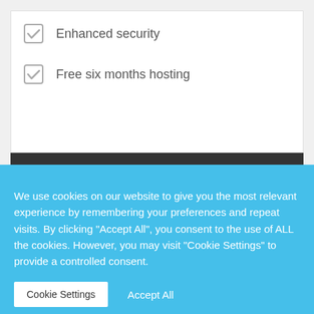Enhanced security
Free six months hosting
BUY IT NOW
We use cookies on our website to give you the most relevant experience by remembering your preferences and repeat visits. By clicking "Accept All", you consent to the use of ALL the cookies. However, you may visit "Cookie Settings" to provide a controlled consent.
Cookie Settings
Accept All